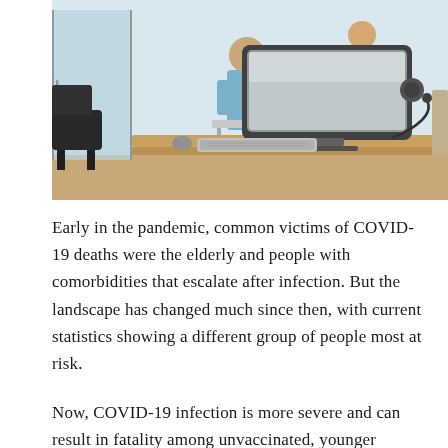[Figure (photo): Hospital or medical office scene showing a patient in a hospital gown being attended to in the background, with a large curved computer monitor and keyboard on a desk in the foreground, in a light blue-toned clinical environment.]
Early in the pandemic, common victims of COVID-19 deaths were the elderly and people with comorbidities that escalate after infection. But the landscape has changed much since then, with current statistics showing a different group of people most at risk.
Now, COVID-19 infection is more severe and can result in fatality among unvaccinated, younger individuals. According to the medical director of the